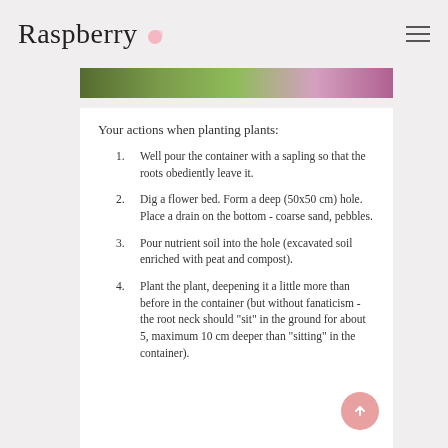Raspberry
[Figure (photo): Partial view of a flower garden image strip at the top of the content area]
Your actions when planting plants:
Well pour the container with a sapling so that the roots obediently leave it.
Dig a flower bed. Form a deep (50x50 cm) hole. Place a drain on the bottom - coarse sand, pebbles.
Pour nutrient soil into the hole (excavated soil enriched with peat and compost).
Plant the plant, deepening it a little more than before in the container (but without fanaticism - the root neck should "sit" in the ground for about 5, maximum 10 cm deeper than "sitting" in the container).